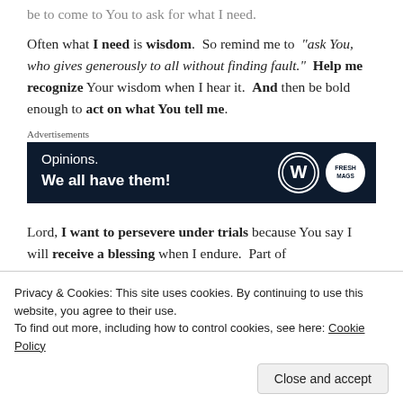be to come to You to ask for what I need.
Often what I need is wisdom.  So remind me to “ask You, who gives generously to all without finding fault.”  Help me recognize Your wisdom when I hear it.  And then be bold enough to act on what You tell me.
Advertisements
[Figure (other): Advertisement banner with dark navy background. Text reads: 'Opinions. We all have them!' with WordPress and FreshMag logos on the right.]
Lord, I want to persevere under trials because You say I will receive a blessing when I endure.  Part of
Privacy & Cookies: This site uses cookies. By continuing to use this website, you agree to their use.
To find out more, including how to control cookies, see here: Cookie Policy